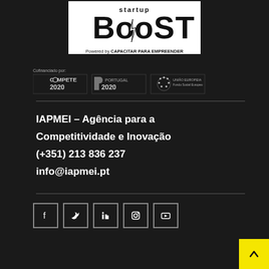[Figure (logo): Startup Boost logo with 'Powered by CAPACITAR PARA EMPREENDER' text below]
[Figure (logo): Co-financing logos: Compete 2020, Portugal 2020, European Union Social Fund]
IAPMEI – Agência para a Competitividade e Inovação
(+351) 213 836 237
info@iapmei.pt
[Figure (infographic): Social media icons: Facebook, Twitter, LinkedIn, Instagram, YouTube]
[Figure (other): Yellow back-to-top arrow button]